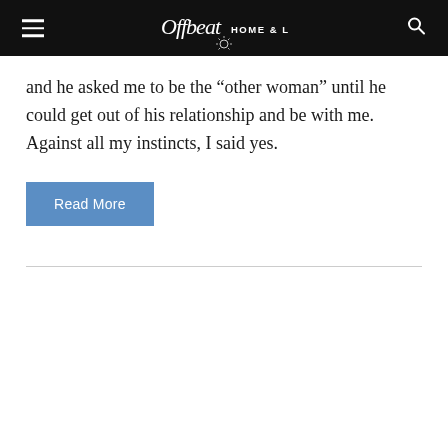Offbeat HOME & LIFE
and he asked me to be the “other woman” until he could get out of his relationship and be with me. Against all my instincts, I said yes.
Read More